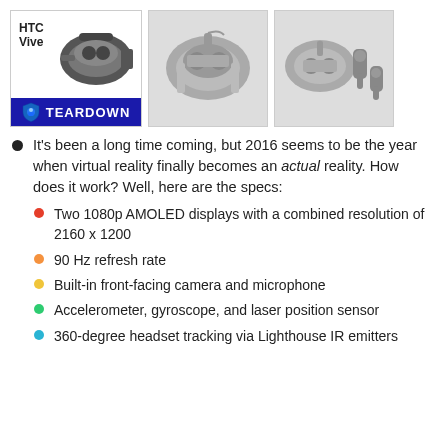[Figure (photo): Three photos of the HTC Vive VR headset. First image shows HTC Vive teardown promotional image with a blue shield logo and TEARDOWN text on dark banner. Second and third images show the VR headset from different angles in gray background.]
It's been a long time coming, but 2016 seems to be the year when virtual reality finally becomes an actual reality. How does it work? Well, here are the specs:
Two 1080p AMOLED displays with a combined resolution of 2160 x 1200
90 Hz refresh rate
Built-in front-facing camera and microphone
Accelerometer, gyroscope, and laser position sensor
360-degree headset tracking via Lighthouse IR emitters